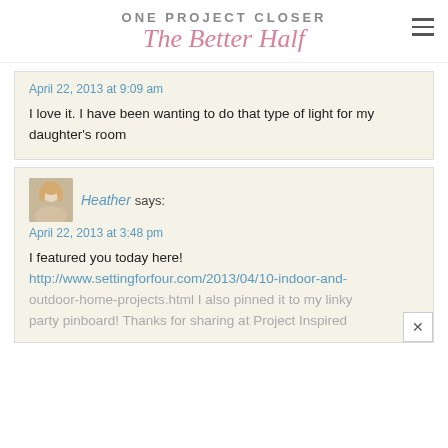ONE PROJECT CLOSER The Better Half
April 22, 2013 at 9:09 am
I love it. I have been wanting to do that type of light for my daughter's room
Heather says:
April 22, 2013 at 3:48 pm
I featured you today here! http://www.settingforfour.com/2013/04/10-indoor-and-outdoor-home-projects.html I also pinned it to my linky party pinboard! Thanks for sharing at Project Inspired